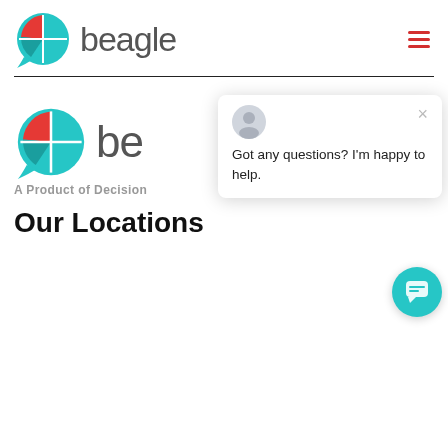[Figure (logo): Beagle logo: pie-chart style icon with red and teal segments, speech bubble shape, next to the text 'beagle' in dark gray sans-serif font]
[Figure (other): Hamburger menu icon with three red horizontal lines]
A Product of Decision
Our Locations
[Figure (screenshot): Chat popup widget with avatar icon, close X button, and message 'Got any questions? I'm happy to help.']
[Figure (other): Teal circular chat bubble button in bottom right corner]